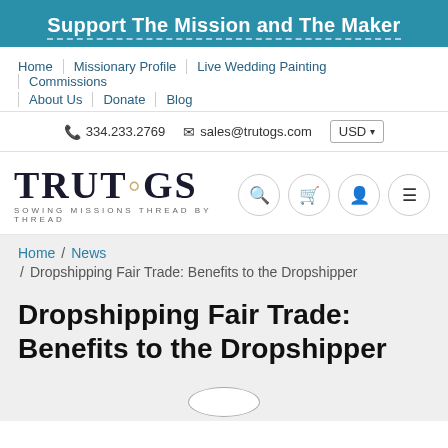Support The Mission and The Maker
Home | Missionary Profile | Live Wedding Painting | Commissions | About Us | Donate | Blog
334.233.2769  sales@trutogs.com  USD
[Figure (logo): TRUTOGS logo with tagline SOWING MISSIONS THREAD BY THREAD and navigation icons (search, cart, user, menu)]
Home / News / Dropshipping Fair Trade: Benefits to the Dropshipper
Dropshipping Fair Trade: Benefits to the Dropshipper